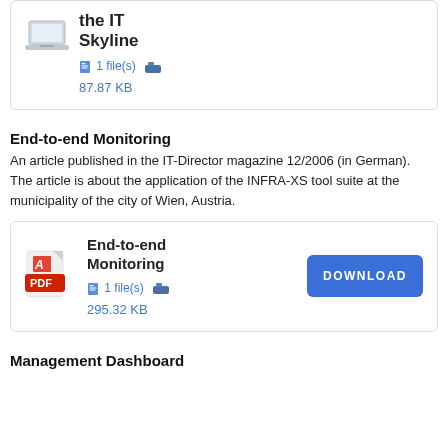[Figure (other): Partial card showing a laptop/computer icon and file info: 1 file(s), 87.87 KB, with the IT Skyline title]
End-to-end Monitoring
An article published in the IT-Director magazine 12/2006 (in German).
The article is about the application of the INFRA-XS tool suite at the municipality of the city of Wien, Austria.
[Figure (other): Download card for End-to-end Monitoring PDF: 1 file(s), 295.32 KB with DOWNLOAD button]
Management Dashboard